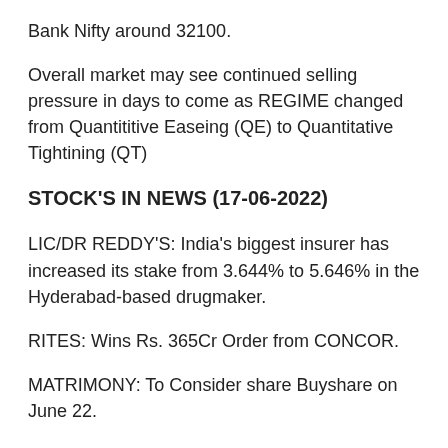Bank Nifty around 32100.
Overall market may see continued selling pressure in days to come as REGIME changed from Quantititive Easeing (QE) to Quantitative Tightining (QT)
STOCK'S IN NEWS (17-06-2022)
LIC/DR REDDY'S: India's biggest insurer has increased its stake from 3.644% to 5.646% in the Hyderabad-based drugmaker.
RITES: Wins Rs. 365Cr Order from CONCOR.
MATRIMONY: To Consider share Buyshare on June 22.